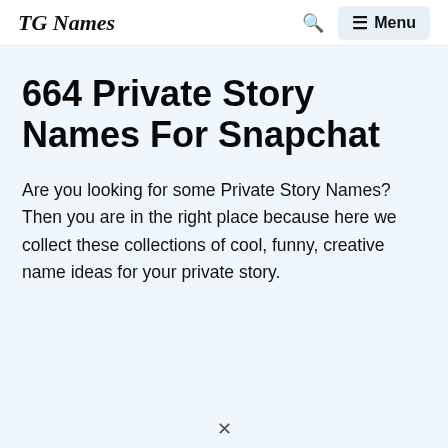TG Names
664 Private Story Names For Snapchat
Are you looking for some Private Story Names? Then you are in the right place because here we collect these collections of cool, funny, creative name ideas for your private story.